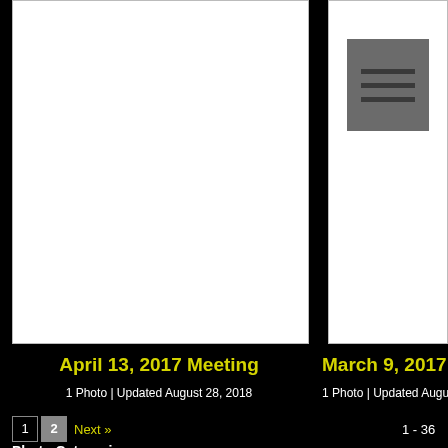[Figure (photo): White thumbnail card for April 13, 2017 Meeting album]
[Figure (photo): White thumbnail card with document icon for March 9, 2017 Meeting album]
April 13, 2017 Meeting
1 Photo | Updated August 28, 2018
March 9, 2017 M...
1 Photo | Updated August...
1  2  Next »  1 - 36
Photo Categories
2019(6)
2018(5)
2017(4)
2016(4)
2015(4)
2014(6)
2013(7)
2012(1)